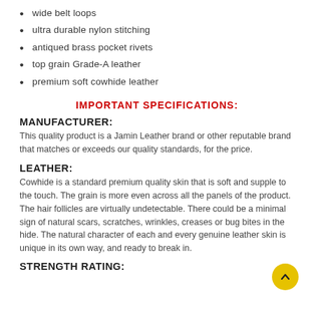wide belt loops
ultra durable nylon stitching
antiqued brass pocket rivets
top grain Grade-A leather
premium soft cowhide leather
IMPORTANT SPECIFICATIONS:
MANUFACTURER:
This quality product is a Jamin Leather brand or other reputable brand that matches or exceeds our quality standards, for the price.
LEATHER:
Cowhide is a standard premium quality skin that is soft and supple to the touch. The grain is more even across all the panels of the product. The hair follicles are virtually undetectable. There could be a minimal sign of natural scars, scratches, wrinkles, creases or bug bites in the hide. The natural character of each and every genuine leather skin is unique in its own way, and ready to break in.
STRENGTH RATING: